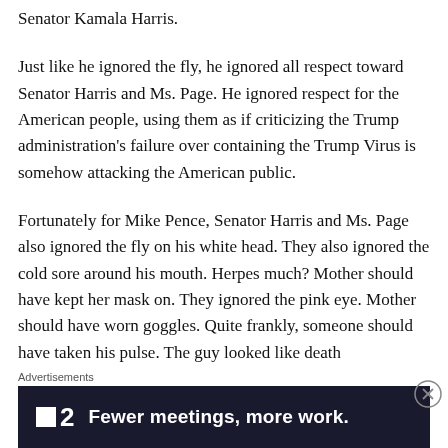Senator Kamala Harris.
Just like he ignored the fly, he ignored all respect toward Senator Harris and Ms. Page. He ignored respect for the American people, using them as if criticizing the Trump administration's failure over containing the Trump Virus is somehow attacking the American public.
Fortunately for Mike Pence, Senator Harris and Ms. Page also ignored the fly on his white head. They also ignored the cold sore around his mouth. Herpes much? Mother should have kept her mask on. They ignored the pink eye. Mother should have worn goggles. Quite frankly, someone should have taken his pulse. The guy looked like death
Advertisements
[Figure (infographic): Advertisement banner: dark navy/black background with white square logo, text '2' and 'Fewer meetings, more work.']